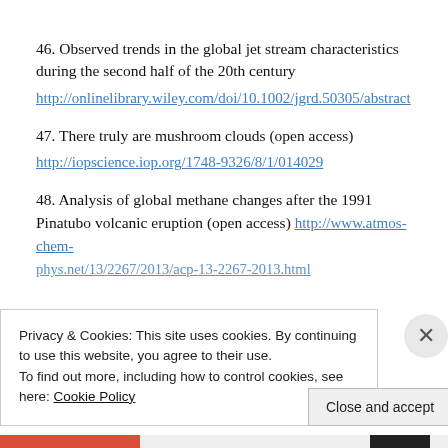46. Observed trends in the global jet stream characteristics during the second half of the 20th century
http://onlinelibrary.wiley.com/doi/10.1002/jgrd.50305/abstract
47. There truly are mushroom clouds (open access)
http://iopscience.iop.org/1748-9326/8/1/014029
48. Analysis of global methane changes after the 1991 Pinatubo volcanic eruption (open access) http://www.atmos-chem-phys.net/13/2267/2013/acp-13-2267-2013.html
Privacy & Cookies: This site uses cookies. By continuing to use this website, you agree to their use. To find out more, including how to control cookies, see here: Cookie Policy